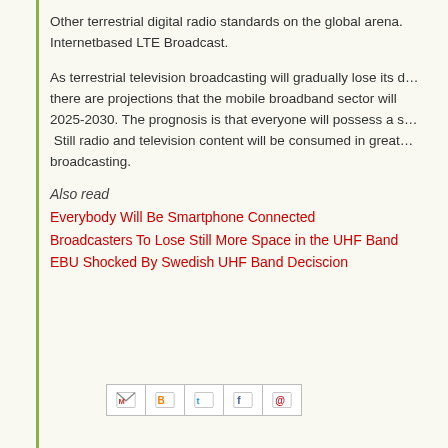Other terrestrial digital radio standards on the global arena. Internetbased LTE Broadcast.
As terrestrial television broadcasting will gradually lose its dominance, there are projections that the mobile broadband sector will surpass it by 2025-2030. The prognosis is that everyone will possess a smartphone. Still radio and television content will be consumed in great amounts via broadcasting.
Also read
Everybody Will Be Smartphone Connected
Broadcasters To Lose Still More Space in the UHF Band
EBU Shocked By Swedish UHF Band Deciscion
[Figure (other): Social share buttons row: Gmail, Blogger, Twitter, Facebook, Pinterest]